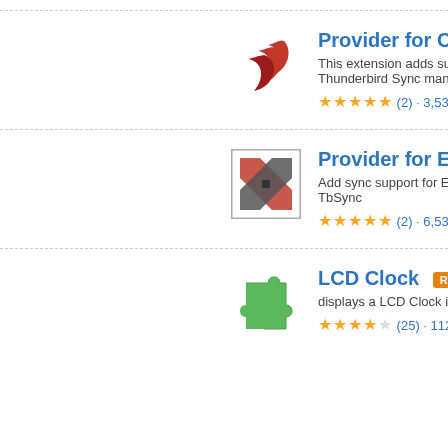[Figure (logo): Provider for CalDAV addon icon - red feather/wave logo]
Provider for CalDA…
This extension adds sup… Thunderbird Sync mana…
★★★★★ (2) · 3,532 us…
[Figure (logo): Provider for Exchange addon icon - red/grey X logo in square border]
Provider for Excha…
Add sync support for Ex… TbSync
★★★★★ (2) · 6,536 us…
[Figure (logo): LCD Clock addon icon - green puzzle piece]
LCD Clock
displays a LCD Clock in…
★★★★☆ (25) · 112 use…